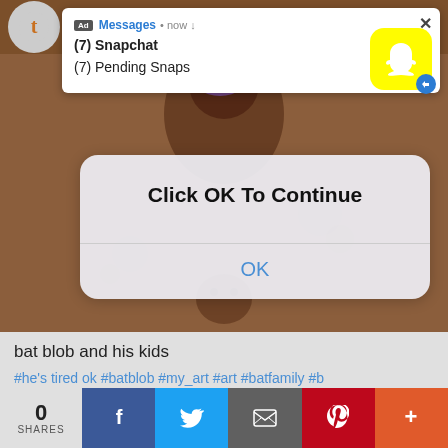[Figure (screenshot): Snapchat ad notification popup showing '(7) Snapchat' and '(7) Pending Snaps' with Snapchat ghost logo icon on yellow background, and a close X button]
[Figure (screenshot): Mobile OS-style dialog box with 'Click OK To Continue' title and blue 'OK' button, overlaid on a brown illustrated background with animated characters]
bat blob and his kids
#he's tired ok #batblob #my art #art #batfamily #b
0 SHARES | Facebook | Twitter | Email | Pinterest | More